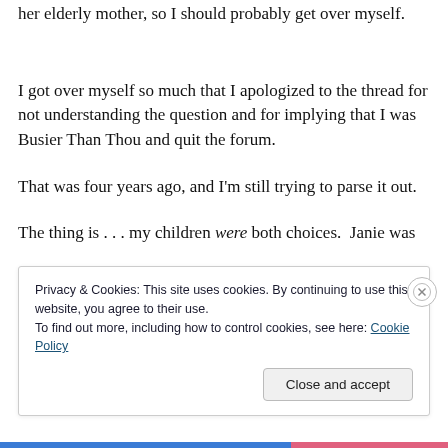her elderly mother, so I should probably get over myself.
I got over myself so much that I apologized to the thread for not understanding the question and for implying that I was Busier Than Thou and quit the forum.
That was four years ago, and I'm still trying to parse it out.
The thing is . . . my children were both choices.  Janie was
Privacy & Cookies: This site uses cookies. By continuing to use this website, you agree to their use.
To find out more, including how to control cookies, see here: Cookie Policy